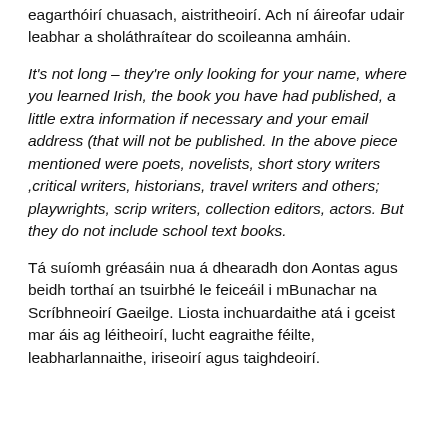eagarthóirí chuasach, aistritheoirí. Ach ní áireofar udair leabhar a sholáthraítear do scoileanna amháin.
It's not long – they're only looking for your name, where you learned Irish, the book you have had published, a little extra information if necessary and your email address (that will not be published. In the above piece mentioned were poets, novelists, short story writers ,critical writers, historians, travel writers and others; playwrights, scrip writers, collection editors, actors. But they do not include school text books.
Tá suíomh gréasáin nua á dhearadh don Aontas agus beidh torthaí an tsuirbhé le feiceáil i mBunachar na Scríbhneoirí Gaeilge. Liosta inchuardaithe atá i gceist mar áis ag léitheoirí, lucht eagraithe féilte, leabharlannaithe, iriseoirí agus taighdeoirí.